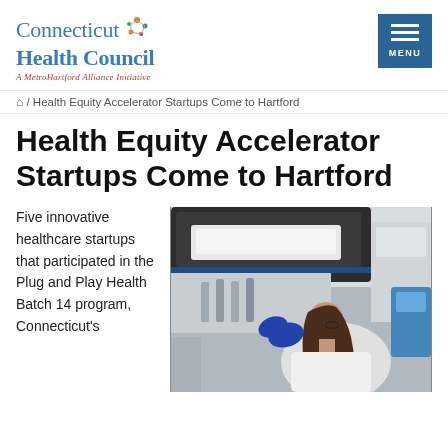[Figure (logo): Connecticut Health Council logo with network/molecule icon and tagline 'A MetroHartford Alliance Initiative']
[Figure (other): Navigation menu button (hamburger icon) with 'MENU' text on blue background]
🏠 / Health Equity Accelerator Startups Come to Hartford
Health Equity Accelerator Startups Come to Hartford
Five innovative healthcare startups that participated in the Plug and Play Health Batch 14 program, Connecticut's
[Figure (photo): A woman in a lab coat and blue gloves working with laboratory equipment, including what appears to be an automated analyzer or centrifuge in a healthcare/science lab setting.]